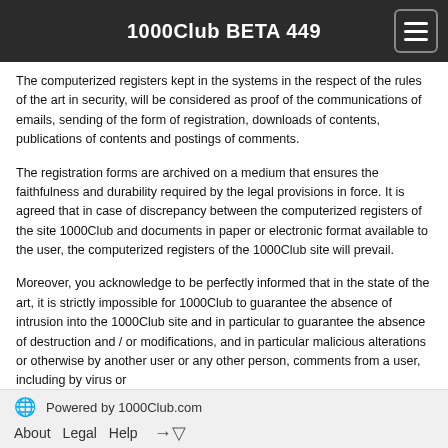1000Club BETA 449
The computerized registers kept in the systems in the respect of the rules of the art in security, will be considered as proof of the communications of emails, sending of the form of registration, downloads of contents, publications of contents and postings of comments.
The registration forms are archived on a medium that ensures the faithfulness and durability required by the legal provisions in force. It is agreed that in case of discrepancy between the computerized registers of the site 1000Club and documents in paper or electronic format available to the user, the computerized registers of the 1000Club site will prevail.
Moreover, you acknowledge to be perfectly informed that in the state of the art, it is strictly impossible for 1000Club to guarantee the absence of intrusion into the 1000Club site and in particular to guarantee the absence of destruction and / or modifications, and in particular malicious alterations or otherwise by another user or any other person, comments from a user, including by virus or
Powered by 1000Club.com
About  Legal  Help